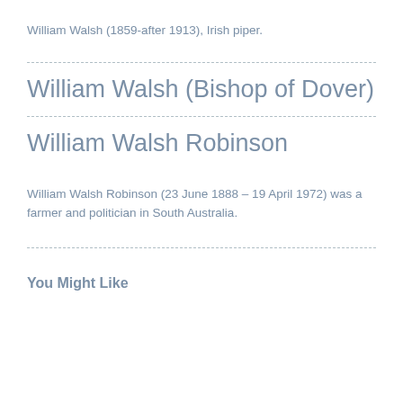William Walsh (1859-after 1913), Irish piper.
William Walsh (Bishop of Dover)
William Walsh Robinson
William Walsh Robinson (23 June 1888 – 19 April 1972) was a farmer and politician in South Australia.
You Might Like